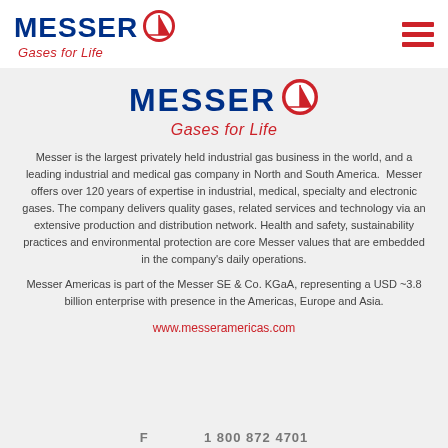[Figure (logo): Messer logo with blue MESSER text, red circle with sailboat icon, and red italic 'Gases for Life' tagline — top navigation bar]
[Figure (logo): Messer logo centered in gray area — larger version with blue MESSER text, red circle with sailboat, red italic 'Gases for Life']
Messer is the largest privately held industrial gas business in the world, and a leading industrial and medical gas company in North and South America.  Messer offers over 120 years of expertise in industrial, medical, specialty and electronic gases. The company delivers quality gases, related services and technology via an extensive production and distribution network. Health and safety, sustainability practices and environmental protection are core Messer values that are embedded in the company's daily operations.
Messer Americas is part of the Messer SE & Co. KGaA, representing a USD ~3.8 billion enterprise with presence in the Americas, Europe and Asia.
www.messeramericas.com